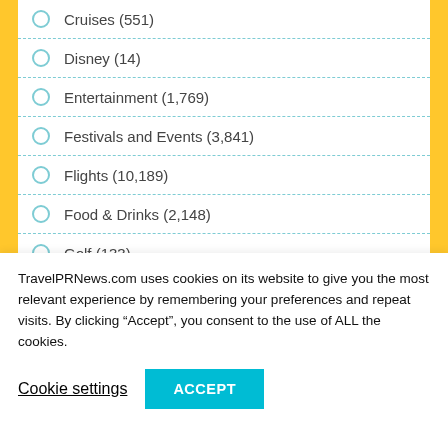Cruises (551)
Disney (14)
Entertainment (1,769)
Festivals and Events (3,841)
Flights (10,189)
Food & Drinks (2,148)
Golf (133)
Holidays (2,274)
Honeymoons (129)
TravelPRNews.com uses cookies on its website to give you the most relevant experience by remembering your preferences and repeat visits. By clicking “Accept”, you consent to the use of ALL the cookies.
Cookie settings
ACCEPT